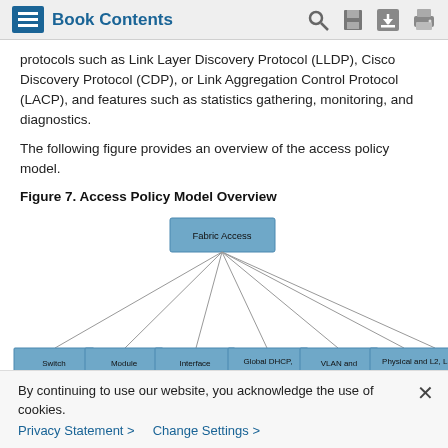Book Contents
protocols such as Link Layer Discovery Protocol (LLDP), Cisco Discovery Protocol (CDP), or Link Aggregation Control Protocol (LACP), and features such as statistics gathering, monitoring, and diagnostics.
The following figure provides an overview of the access policy model.
Figure 7. Access Policy Model Overview
[Figure (organizational-chart): Hierarchy diagram showing 'Fabric Access' at the top connected by lines to seven boxes below: Switch, Module, Interface, Global DHCP, VLAN and, Physical and L2 L3, Monitoring &]
By continuing to use our website, you acknowledge the use of cookies.
Privacy Statement >   Change Settings >